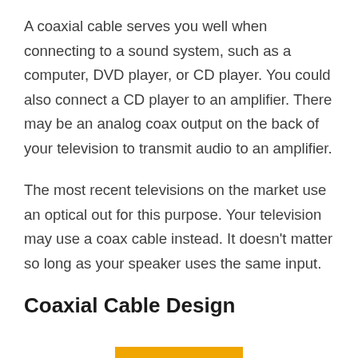A coaxial cable serves you well when connecting to a sound system, such as a computer, DVD player, or CD player. You could also connect a CD player to an amplifier. There may be an analog coax output on the back of your television to transmit audio to an amplifier.
The most recent televisions on the market use an optical out for this purpose. Your television may use a coax cable instead. It doesn't matter so long as your speaker uses the same input.
Coaxial Cable Design